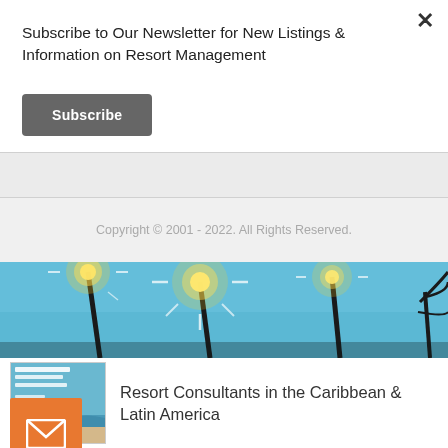×
Subscribe to Our Newsletter for New Listings & Information on Resort Management
Subscribe
Copyright © 2001 - 2022. All Rights Reserved.
[Figure (photo): Banner photo of tropical tiki torches with bright sunburst against a blue sky]
[Figure (logo): Small thumbnail logo for Resort Brokers Caribbean & Latin America consulting service]
Resort Consultants in the Caribbean & Latin America
[Figure (illustration): Orange email/envelope icon button]